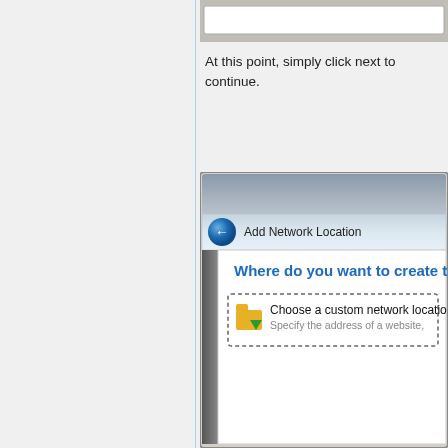[Figure (screenshot): Partial screenshot of a dialog window (top strip, cut off at top)]
At this point, simply click next to continue.
[Figure (screenshot): Screenshot of Windows 'Add Network Location' wizard dialog showing 'Where do you want to create th...' with 'Choose a custom network locatio...' option and 'Specify the address of a website,' subtitle. Has a blue back button and folder icon.]